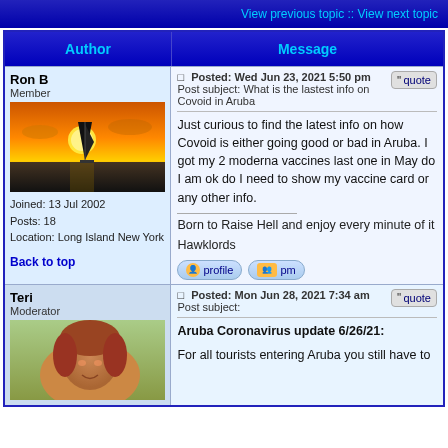View previous topic :: View next topic
| Author | Message |
| --- | --- |
| Ron B
Member
[avatar: sunset sailboat]
Joined: 13 Jul 2002
Posts: 18
Location: Long Island New York
Back to top | Posted: Wed Jun 23, 2021 5:50 pm
Post subject: What is the lastest info on Covoid in Aruba

Just curious to find the latest info on how Covoid is either going good or bad in Aruba. I got my 2 moderna vaccines last one in May do I am ok do I need to show my vaccine card or any other info.

Born to Raise Hell and enjoy every minute of it

Hawklords |
| Teri
Moderator
[avatar: photo] | Posted: Mon Jun 28, 2021 7:34 am
Post subject:

Aruba Coronavirus update 6/26/21:

For all tourists entering Aruba you still have to |